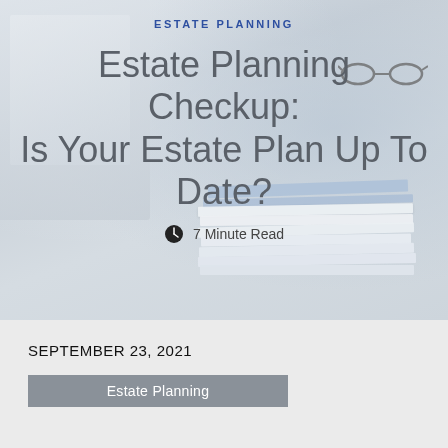[Figure (photo): Hero background image showing a stack of documents/binders and glasses on a white desk with a laptop in the background, soft light grey tones]
ESTATE PLANNING
Estate Planning Checkup: Is Your Estate Plan Up To Date?
🕐 7 Minute Read
SEPTEMBER 23, 2021
Estate Planning